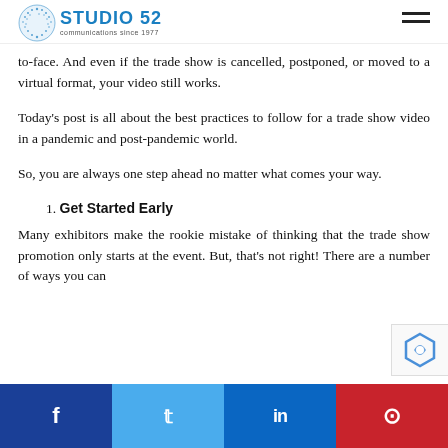Studio 52 — communications since 1977
to-face. And even if the trade show is cancelled, postponed, or moved to a virtual format, your video still works.
Today's post is all about the best practices to follow for a trade show video in a pandemic and post-pandemic world.
So, you are always one step ahead no matter what comes your way.
1. Get Started Early
Many exhibitors make the rookie mistake of thinking that the trade show promotion only starts at the event. But, that's not right! There are a number of ways you can
Facebook | Twitter | LinkedIn | Pinterest social share bar